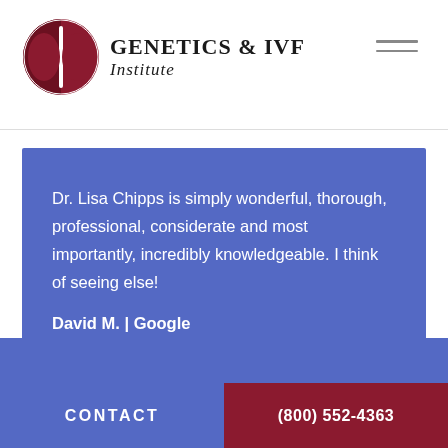[Figure (logo): Genetics & IVF Institute logo with red circular brain/cell icon and serif text]
Dr. Lisa Chipps is simply wonderful, thorough, professional, considerate and most importantly, incredibly knowledgeable. I think of seeing else!
David M. | Google
CONTACT
(800) 552-4363